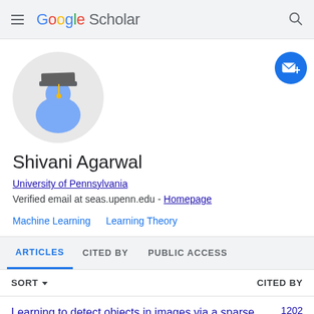Google Scholar
[Figure (illustration): Google Scholar profile avatar: graduation cap silhouette icon with blue person shape on light gray circle background]
[Figure (illustration): Blue circular follow/email button with envelope and plus icon]
Shivani Agarwal
University of Pennsylvania
Verified email at seas.upenn.edu - Homepage
Machine Learning
Learning Theory
ARTICLES   CITED BY   PUBLIC ACCESS
SORT   CITED BY
Learning to detect objects in images via a sparse, 1202